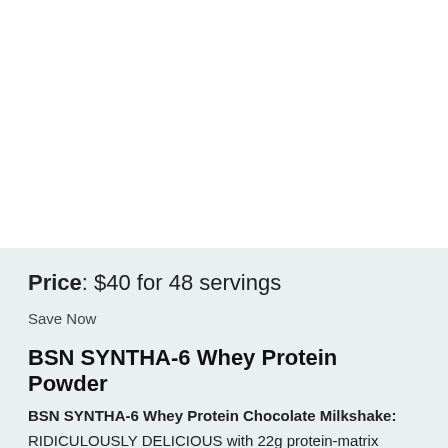Price: $40 for 48 servings
Save Now
BSN SYNTHA-6 Whey Protein Powder
BSN SYNTHA-6 Whey Protein Chocolate Milkshake: RIDICULOUSLY DELICIOUS with 22g protein-matrix consisting of whey protein concentrate, whey protein